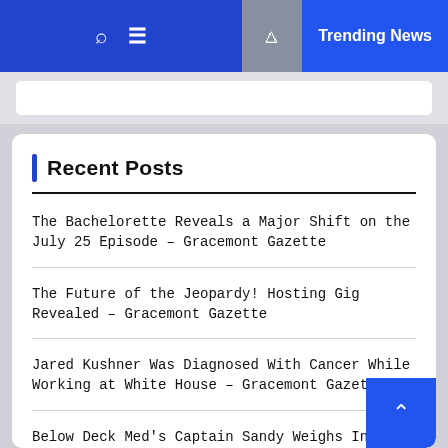Trending News
Recent Posts
The Bachelorette Reveals a Major Shift on the July 25 Episode – Gracemont Gazette
The Future of the Jeopardy! Hosting Gig Revealed – Gracemont Gazette
Jared Kushner Was Diagnosed With Cancer While Working at White House – Gracemont Gazette
Below Deck Med's Captain Sandy Weighs In on Natasha and Dave – Gracemont Gazette